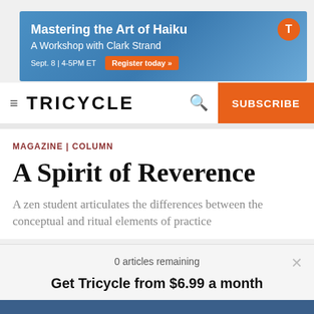[Figure (infographic): Ad banner for 'Mastering the Art of Haiku – A Workshop with Clark Strand', Sept. 8 | 4-5PM ET, with a 'Register today' button, blue background with cherry blossoms and orange T badge.]
TRICYCLE | SUBSCRIBE
MAGAZINE | COLUMN
A Spirit of Reverence
A zen student articulates the differences between the conceptual and ritual elements of practice
0 articles remaining
Get Tricycle from $6.99 a month
SUBSCRIBE NOW   Log In